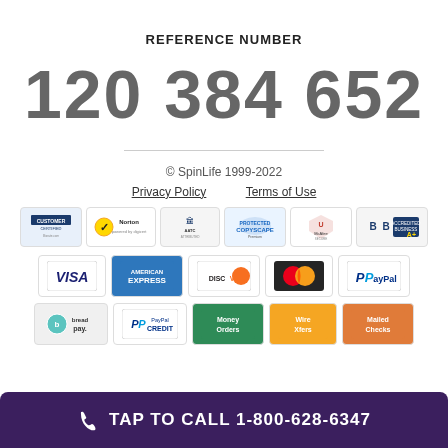REFERENCE NUMBER
120 384 652
© SpinLife 1999-2022
Privacy Policy   Terms of Use
[Figure (infographic): Row of trust/security badge logos: Customer Certified, Norton by Digicert, AATC Attributed, Copyscape, McAfee Secure, BBB Accredited Business A+]
[Figure (infographic): Payment method logos: VISA, American Express, Discover, MasterCard, PayPal]
[Figure (infographic): Additional payment options: Bread Pay, PayPal Credit, Money Orders, Wire Xfers, Mailed Checks]
TAP TO CALL 1-800-628-6347